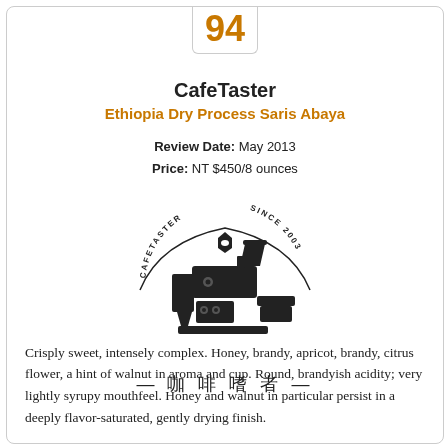94
CafeTaster
Ethiopia Dry Process Saris Abaya
Review Date: May 2013
Price: NT $450/8 ounces
[Figure (logo): CafeTaster logo with coffee roaster machine illustration, circular text reading CAFETASTER SINCE 2003, and Chinese characters — 咖啡嗜者 —]
Crisply sweet, intensely complex. Honey, brandy, apricot, brandy, citrus flower, a hint of walnut in aroma and cup. Round, brandyish acidity; very lightly syrupy mouthfeel. Honey and walnut in particular persist in a deeply flavor-saturated, gently drying finish.